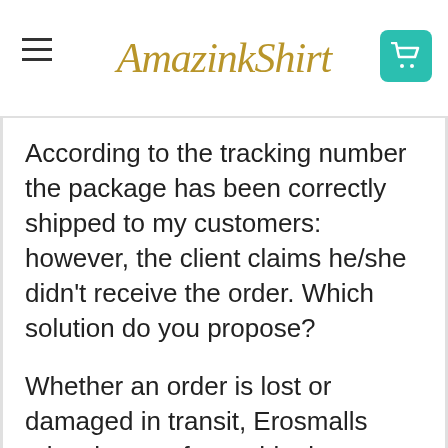AmazinkShirt
According to the tracking number the package has been correctly shipped to my customers: however, the client claims he/she didn't receive the order. Which solution do you propose?
Whether an order is lost or damaged in transit, Erosmalls take charge of any shipping or printing issue. However, if the tracking states that the order has been successfully delivered, Erosmalls